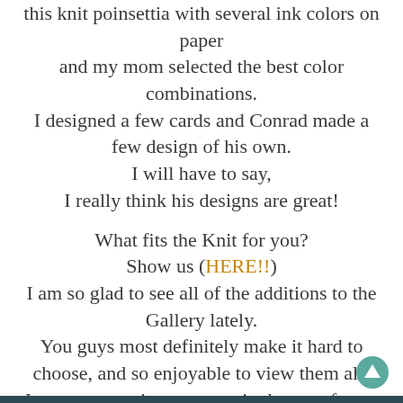this knit poinsettia with several ink colors on paper and my mom selected the best color combinations. I designed a few cards and Conrad made a few design of his own. I will have to say, I really think his designs are great!

What fits the Knit for you?
Show us (HERE!!)
I am so glad to see all of the additions to the Gallery lately.
You guys most definitely make it hard to choose, and so enjoyable to view them all!
I may not pop in on every single one of your entries, but I do admire each and every one!